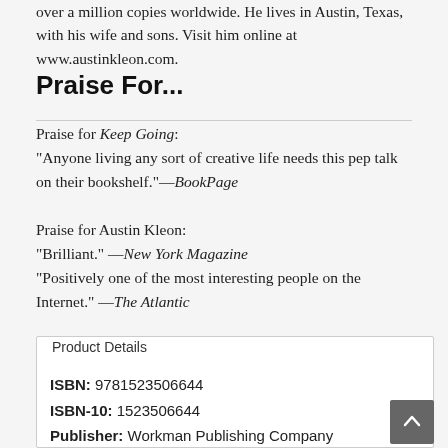over a million copies worldwide. He lives in Austin, Texas, with his wife and sons. Visit him online at www.austinkleon.com.
Praise For...
Praise for Keep Going:
"Anyone living any sort of creative life needs this pep talk on their bookshelf."—BookPage
Praise for Austin Kleon:
"Brilliant." —New York Magazine
"Positively one of the most interesting people on the Internet." —The Atlantic
Product Details
ISBN: 9781523506644
ISBN-10: 1523506644
Publisher: Workman Publishing Company